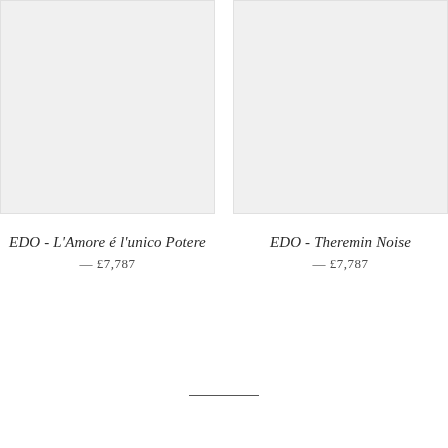[Figure (illustration): Product image placeholder for EDO - L'Amore é l'unico Potere, light grey rectangle]
EDO - L'Amore é l'unico Potere — £7,787
[Figure (illustration): Product image placeholder for EDO - Theremin Noise, light grey rectangle]
EDO - Theremin Noise — £7,787